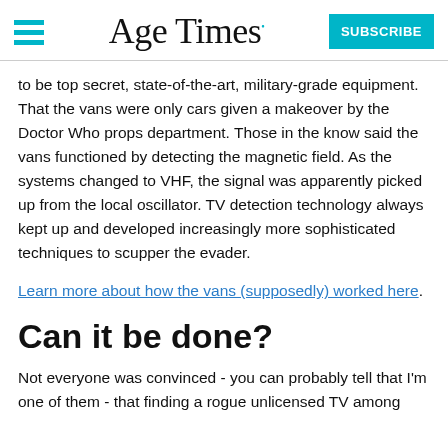Age Times
to be top secret, state-of-the-art, military-grade equipment. That the vans were only cars given a makeover by the Doctor Who props department. Those in the know said the vans functioned by detecting the magnetic field. As the systems changed to VHF, the signal was apparently picked up from the local oscillator. TV detection technology always kept up and developed increasingly more sophisticated techniques to scupper the evader.
Learn more about how the vans (supposedly) worked here.
Can it be done?
Not everyone was convinced - you can probably tell that I'm one of them - that finding a rogue unlicensed TV among